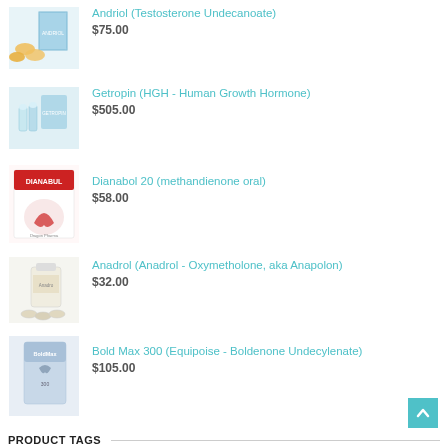[Figure (photo): Product image of Andriol (Testosterone Undecanoate) - pills and box]
Andriol (Testosterone Undecanoate)
$75.00
[Figure (photo): Product image of Getropin HGH vials and box]
Getropin (HGH - Human Growth Hormone)
$505.00
[Figure (photo): Product image of Dianabol 20 Dragon Pharma packaging]
Dianabol 20 (methandienone oral)
$58.00
[Figure (photo): Product image of Anadrol bottle with tablets]
Anadrol (Anadrol - Oxymetholone, aka Anapolon)
$32.00
[Figure (photo): Product image of Bold Max 300 vial box]
Bold Max 300 (Equipoise - Boldenone Undecylenate)
$105.00
PRODUCT TAGS